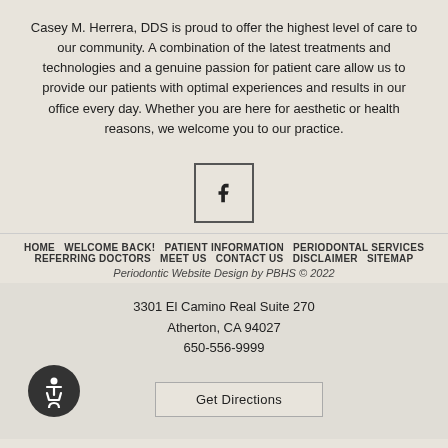Casey M. Herrera, DDS is proud to offer the highest level of care to our community. A combination of the latest treatments and technologies and a genuine passion for patient care allow us to provide our patients with optimal experiences and results in our office every day. Whether you are here for aesthetic or health reasons, we welcome you to our practice.
[Figure (logo): Facebook icon inside a square border]
HOME  WELCOME BACK!  PATIENT INFORMATION  PERIODONTAL SERVICES  REFERRING DOCTORS  MEET US  CONTACT US  DISCLAIMER  SITEMAP
Periodontic Website Design by PBHS © 2022
3301 El Camino Real Suite 270
Atherton, CA 94027
650-556-9999
[Figure (illustration): Accessibility wheelchair icon in a dark circular button]
Get Directions